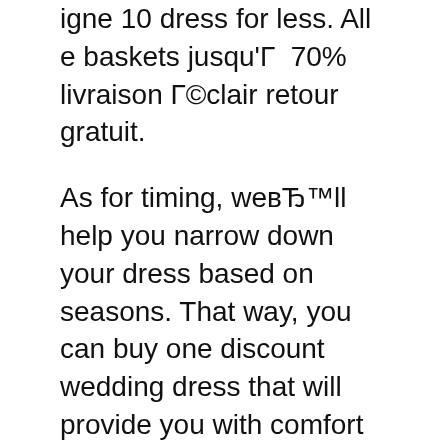igne 10 dress for less. All e baskets jusqu'Г 70% livraison Г©clair retour gratuit.
As for timing, weвЂ™ll help you narrow down your dress based on seasons. That way, you can buy one discount wedding dress that will provide you with comfort as you walk down the aisle and say "I do". So donвЂ™t waste any minute longer and simply choose one of вЂ¦ r/TrueRedditDrama: Drama. On reddit. Press J to jump to the feed. Press question mark to learn the rest of the keyboard shortcuts
Dream Dress For Less in Nanaimo, British Columbia - Save money and shop the best...